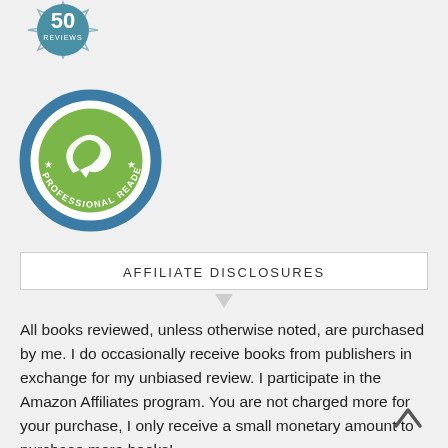[Figure (logo): Partial view of a blue and gold badge with '50 REVIEWS' text at top of page]
[Figure (logo): NetGalley Member Professional Reader circular badge with blue ring and green emblem]
AFFILIATE DISCLOSURES
All books reviewed, unless otherwise noted, are purchased by me. I do occasionally receive books from publishers in exchange for my unbiased review. I participate in the Amazon Affiliates program. You are not charged more for your purchase, I only receive a small monetary amount to purchase more books!